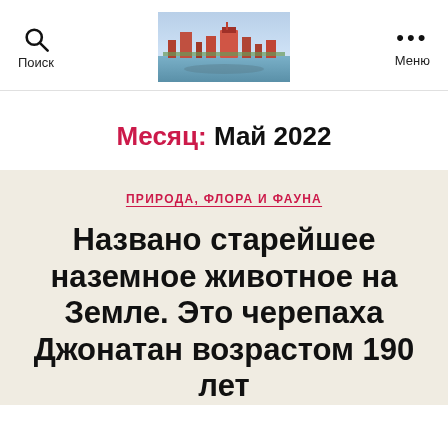Поиск | [image: cityscape] | Меню
Месяц: Май 2022
ПРИРОДА, ФЛОРА И ФАУНА
Названо старейшее наземное животное на Земле. Это черепаха Джонатан возрастом 190 лет